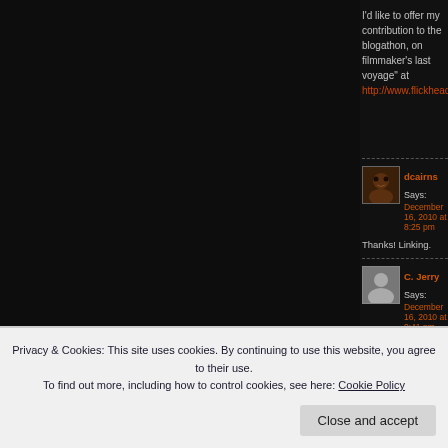I'd like to offer my contribution to the blogathon, on filmmaker's last voyage" at http://www.flickhead.net
dcairns Says:
December 16, 2010 at 8:25 pm
Thanks! Linking.
C. Jerry Says:
December 16, 2010 at 8:41 pm
Just learned that Blake Edwards has passed on. While S.O.B. is not his most popular film, I think it's one of his greatest and stands as his testament... imagined the death of the filmmaker, i.e., himself.
dcairns Says:
December 16, 2010 at 9:06 pm
Privacy & Cookies: This site uses cookies. By continuing to use this website, you agree to their use.
To find out more, including how to control cookies, see here: Cookie Policy
Close and accept